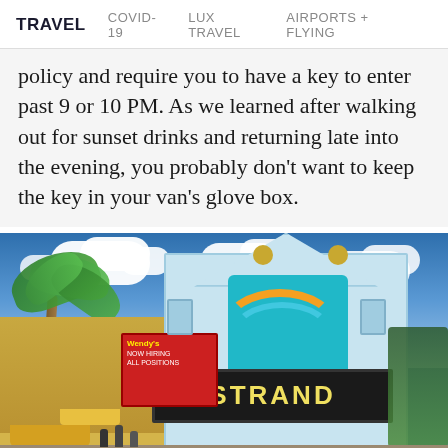TRAVEL   COVID-19   LUX TRAVEL   AIRPORTS + FLYING
policy and require you to have a key to enter past 9 or 10 PM. As we learned after walking out for sunset drinks and returning late into the evening, you probably don't want to keep the key in your van's glove box.
[Figure (photo): Exterior photo of the Strand theatre building in Key West, Florida. A colorful light-blue and white ornate facade with 'STRAND' lettering on a marquee. A palm tree is visible on the left side. Blue sky with white clouds above. Street level with people and shops visible.]